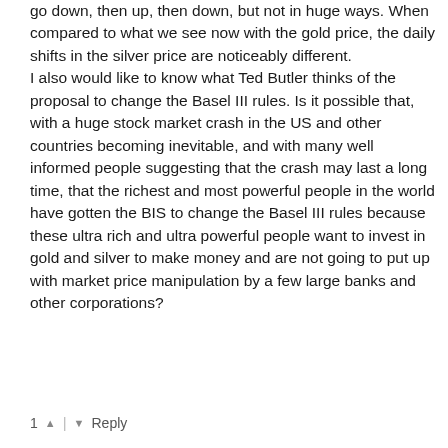go down, then up, then down, but not in huge ways. When compared to what we see now with the gold price, the daily shifts in the silver price are noticeably different.
I also would like to know what Ted Butler thinks of the proposal to change the Basel III rules. Is it possible that, with a huge stock market crash in the US and other countries becoming inevitable, and with many well informed people suggesting that the crash may last a long time, that the richest and most powerful people in the world have gotten the BIS to change the Basel III rules because these ultra rich and ultra powerful people want to invest in gold and silver to make money and are not going to put up with market price manipulation by a few large banks and other corporations?
1  |  Reply
Bill In Montgomey → Rob .Tomp
a year ago edited
Ask yourself this question: Why aren't silver prices "going to the moon" right now? Or: If rampant and conspicuous inflation and money printing that has reached mind-blowing proportions - and economic devastation on a mass scale - won't make silver prices soar, what events will?